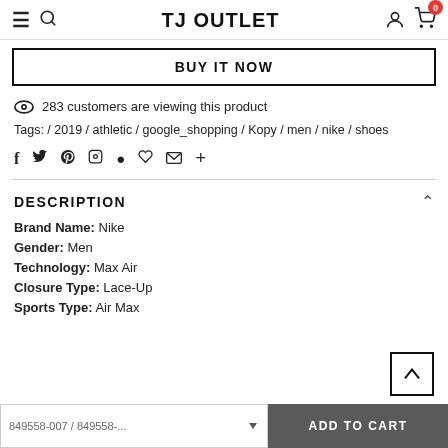TJ OUTLET
BUY IT NOW
283 customers are viewing this product
Tags: / 2019 / athletic / google_shopping / Kopy / men / nike / shoes
DESCRIPTION
Brand Name: Nike
Gender: Men
Technology: Max Air
Closure Type: Lace-Up
Sports Type: Air Max
849558-007 / 849558-... ADD TO CART